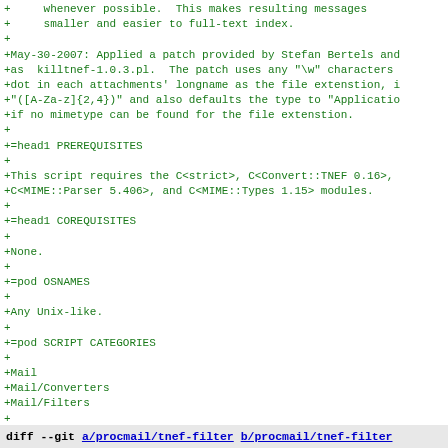+     whenever possible.  This makes resulting messages
+     smaller and easier to full-text index.
+
+May-30-2007: Applied a patch provided by Stefan Bertels and
+as  killtnef-1.0.3.pl.  The patch uses any "\w" characters
+dot in each attachments' longname as the file extenstion, i
+"([A-Za-z]{2,4})" and also defaults the type to "Applicatio
+if no mimetype can be found for the file extenstion.
+
+=head1 PREREQUISITES
+
+This script requires the C<strict>, C<Convert::TNEF 0.16>,
+C<MIME::Parser 5.406>, and C<MIME::Types 1.15> modules.
+
+=head1 COREQUISITES
+
+None.
+
+=pod OSNAMES
+
+Any Unix-like.
+
+=pod SCRIPT CATEGORIES
+
+Mail
+Mail/Converters
+Mail/Filters
+
+=cut
+
diff --git a/procmail/tnef-filter b/procmail/tnef-filter